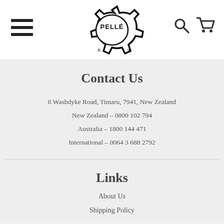[Figure (logo): Pellé brand logo with gear/cog shape and Pellé text, with registered and trademark symbols]
Contact Us
8 Washdyke Road, Timaru, 7941, New Zealand
New Zealand - 0800 102 794
Australia - 1800 144 471
International - 0064 3 688 2792
Links
About Us
Shipping Policy